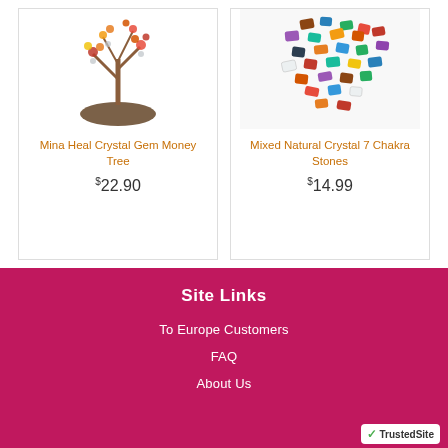[Figure (photo): Mina Heal Crystal Gem Money Tree product image — a wire tree with gemstone leaves on a dark rocky base]
Mina Heal Crystal Gem Money Tree
$22.90
[Figure (photo): Mixed Natural Crystal 7 Chakra Stones product image — colorful mixed gemstone chips arranged in a heart or pile shape]
Mixed Natural Crystal 7 Chakra Stones
$14.99
Site Links
To Europe Customers
FAQ
About Us